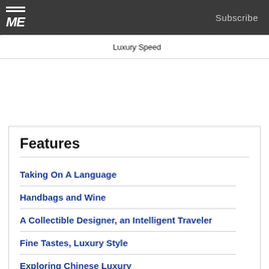ME Subscribe
Luxury Speed
Features
Taking On A Language
Handbags and Wine
A Collectible Designer, an Intelligent Traveler
Fine Tastes, Luxury Style
Exploring Chinese Luxury
Tea and a Hotel
Futuristic Guides and Farm Dining
Kids, Dogs, and a $2 Million Car